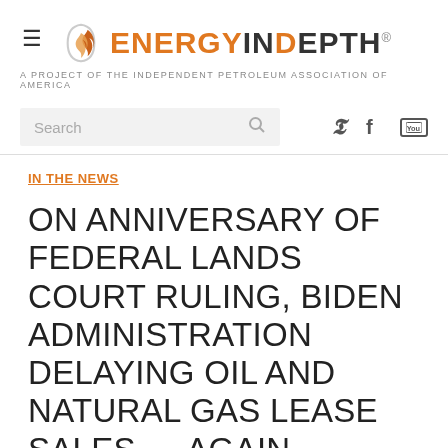[Figure (logo): EnergyInDepth logo with flame icon and tagline 'A project of the INDEPENDENT PETROLEUM ASSOCIATION OF AMERICA']
Search
IN THE NEWS
ON ANNIVERSARY OF FEDERAL LANDS COURT RULING, BIDEN ADMINISTRATION DELAYING OIL AND NATURAL GAS LEASE SALES … AGAIN